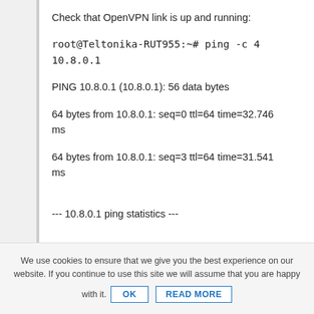Check that OpenVPN link is up and running:
root@Teltonika-RUT955:~# ping -c 4 10.8.0.1
PING 10.8.0.1 (10.8.0.1): 56 data bytes
64 bytes from 10.8.0.1: seq=0 ttl=64 time=32.746 ms
64 bytes from 10.8.0.1: seq=3 ttl=64 time=31.541 ms
--- 10.8.0.1 ping statistics ---
We use cookies to ensure that we give you the best experience on our website. If you continue to use this site we will assume that you are happy with it. OK  READ MORE